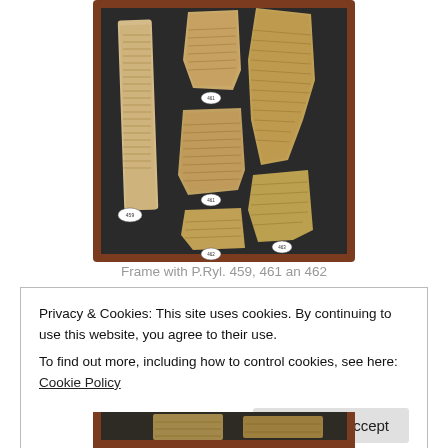[Figure (photo): A display frame containing ancient papyrus fragments labeled P.Ryl. 459, 461 and 462, arranged on a dark background in a wooden frame. Multiple torn and fragmentary pieces of papyrus with ancient writing are visible.]
Frame with P.Ryl. 459, 461 an 462
Privacy & Cookies: This site uses cookies. By continuing to use this website, you agree to their use.
To find out more, including how to control cookies, see here: Cookie Policy
[Figure (photo): Partial view of another papyrus fragment display, visible at the bottom of the page (cropped).]